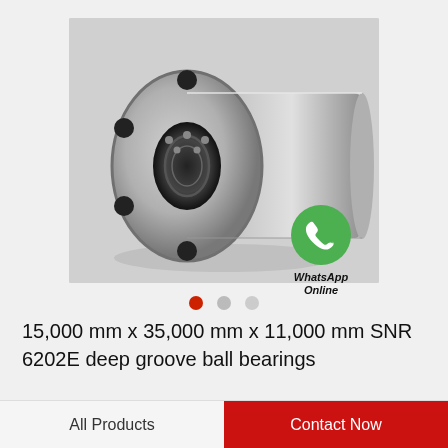[Figure (photo): A flanged linear ball bearing (cylindrical metal bearing with circular flange plate and multiple bolt holes), shown at an angle on a light gray surface. Product appears to be a steel linear motion bearing.]
WhatsApp Online
15,000 mm x 35,000 mm x 11,000 mm SNR 6202E deep groove ball bearings
All Products
Contact Now